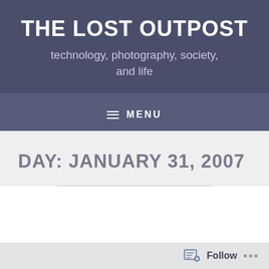THE LOST OUTPOST
technology, photography, society, and life
≡ MENU
DAY: JANUARY 31, 2007
Follow ...